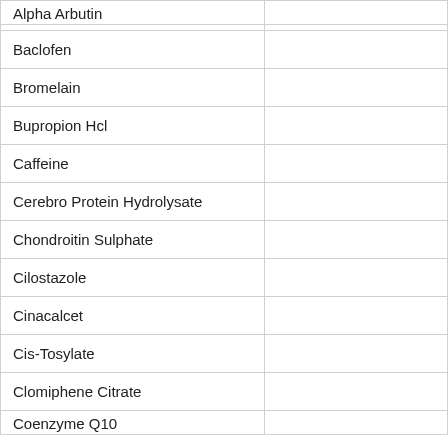| Alpha Arbutin |  |
| Baclofen |  |
| Bromelain |  |
| Bupropion Hcl |  |
| Caffeine |  |
| Cerebro Protein Hydrolysate |  |
| Chondroitin Sulphate |  |
| Cilostazole |  |
| Cinacalcet |  |
| Cis-Tosylate |  |
| Clomiphene Citrate |  |
| Coenzyme Q10 |  |